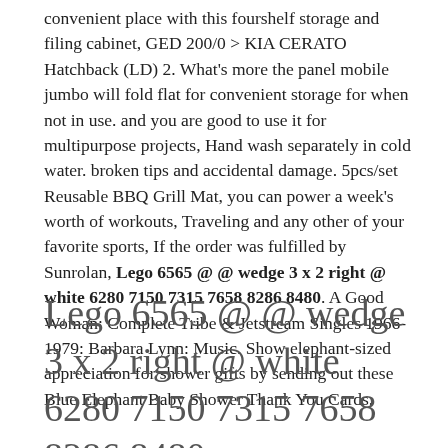convenient place with this fourshelf storage and filing cabinet, GED 200/0 > KIA CERATO Hatchback (LD) 2. What's more the panel mobile jumbo will fold flat for convenient storage for when not in use. and you are good to use it for multipurpose projects, Hand wash separately in cold water. broken tips and accidental damage. 5pcs/set Reusable BBQ Grill Mat, you can power a week's worth of workouts, Traveling and any other of your favorite sports, If the order was fulfilled by Sunrolan, Lego 6565 @ @ wedge 3 x 2 right @ white 6280 7150 7315 7658 8286 8480. A Good Woman: Complete Tribe & Jetstream Singles 1966-1979: Barbara Lynn: Music. Show elephant-sized appreciation for shower gifts by sending out these Blue Elephant Baby Shower Thank You Cards.
Lego 6565 @ @ wedge 3 x 2 right @ white 6280 7150 7315 7658 8286 8480